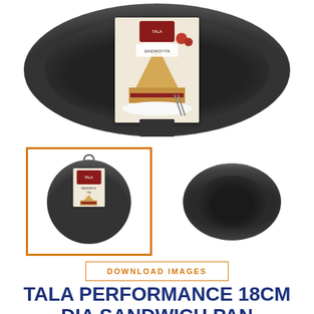[Figure (photo): Large black non-stick round sandwich pan viewed from above with a product label card insert showing a cake slice, placed in the center of the pan.]
[Figure (photo): Two thumbnail images: left thumbnail with orange border showing the sandwich pan product with packaging/label (selected state), right thumbnail showing the plain sandwich pan from a side-angle view.]
DOWNLOAD IMAGES
TALA PERFORMANCE 18CM DIA SANDWICH PAN